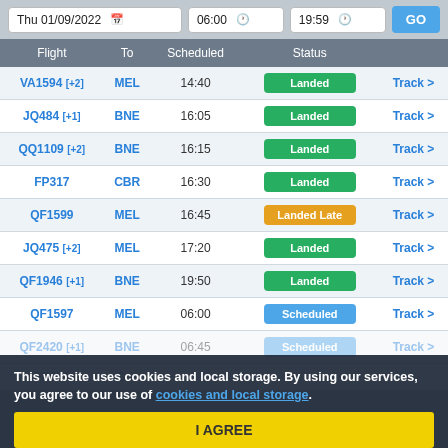[Figure (screenshot): Flight arrivals search bar with date Thu 01/09/2022, time 06:00, end time 19:59, and GO button]
| Flight | To | Scheduled | Status |  |
| --- | --- | --- | --- | --- |
| VA1594 [+2] | MEL | 14:40 | Landed | Track > |
| JQ484 [+1] | BNE | 16:05 | Landed | Track > |
| QQ1109 [+2] | BNE | 16:15 | Landed | Track > |
| FP317 | CBR | 16:30 | Landed | Track > |
| QF1599 | MEL | 16:45 | Landed Late | Track > |
| JQ475 [+2] | MEL | 17:20 | Landed | Track > |
| QF1946 [+1] | BNE | 19:50 | Landed | Track > |
| QF1597 | MEL | 06:00 | Scheduled | Track > |
| QF2420 [+1] | BNE | 06:45 | Scheduled | Track > |
| FP311 | C… |  |  |  |
This website uses cookies and local storage. By using our services, you agree to our use of cookies and local storage.
I AGREE